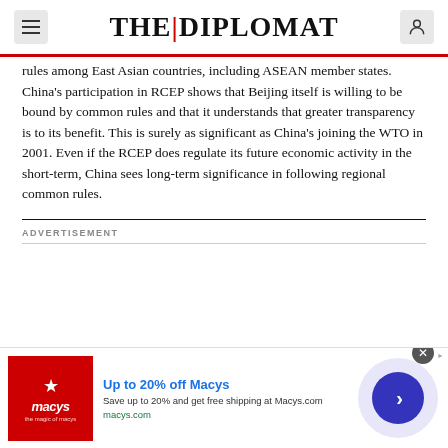THE | DIPLOMAT
rules among East Asian countries, including ASEAN member states. China’s participation in RCEP shows that Beijing itself is willing to be bound by common rules and that it understands that greater transparency is to its benefit. This is surely as significant as China’s joining the WTO in 2001. Even if the RCEP does regulate its future economic activity in the short-term, China sees long-term significance in following regional common rules.
ADVERTISEMENT
[Figure (screenshot): Macy's advertisement banner: red Macy's logo square on left, text 'Up to 20% off Macys' with description 'Save up to 20% and get free shipping at Macys.com' and URL 'macys.com', blue navigation arrow circle on right.]